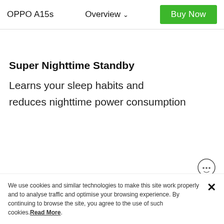OPPO A15s   Overview   Buy Now
Super Nighttime Standby
Learns your sleep habits and reduces nighttime power consumption
[Figure (illustration): Small circular chat/messenger icon with dots inside, positioned bottom-right of content area]
We use cookies and similar technologies to make this site work properly and to analyse traffic and optimise your browsing experience. By continuing to browse the site, you agree to the use of such cookies. Read More.